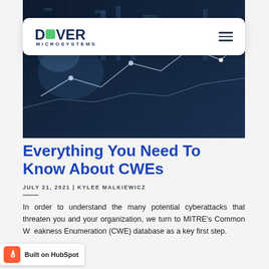[Figure (photo): Dark blue financial data visualization background with glowing line chart dots and numbers]
Dover Microsystems
Everything You Need To Know About CWEs
JULY 21, 2021 | KYLEE MALKIEWICZ
In order to understand the many potential cyberattacks that threaten you and your organization, we turn to MITRE's Common Weakness Enumeration (CWE) database as a key first step.